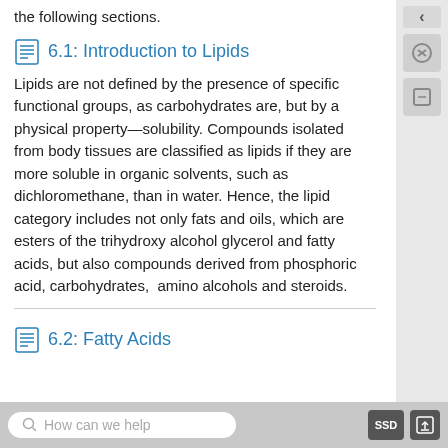the following sections.
6.1: Introduction to Lipids
Lipids are not defined by the presence of specific functional groups, as carbohydrates are, but by a physical property—solubility. Compounds isolated from body tissues are classified as lipids if they are more soluble in organic solvents, such as dichloromethane, than in water. Hence, the lipid category includes not only fats and oils, which are esters of the trihydroxy alcohol glycerol and fatty acids, but also compounds derived from phosphoric acid, carbohydrates,  amino alcohols and steroids.
6.2: Fatty Acids